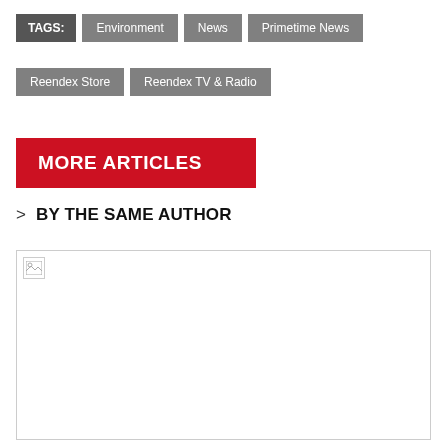TAGS: Environment News Primetime News
Reendex Store Reendex TV & Radio
MORE ARTICLES
> BY THE SAME AUTHOR
[Figure (photo): Image placeholder with broken image icon, white background with light border]